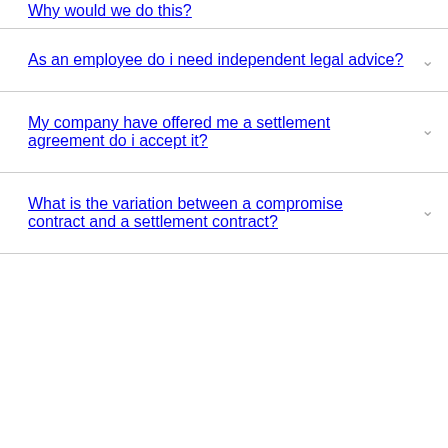Why would we do this?
As an employee do i need independent legal advice?
My company have offered me a settlement agreement do i accept it?
What is the variation between a compromise contract and a settlement contract?